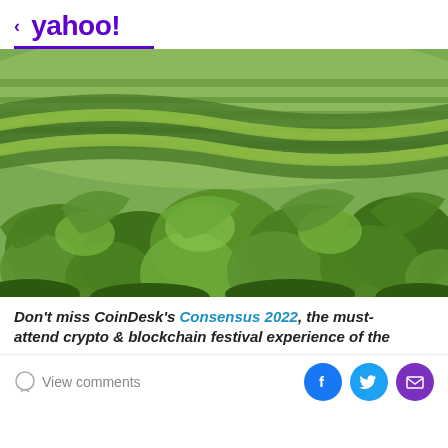< yahoo!
[Figure (photo): Aerial-angle photo of lush green tea plantation or soybean fields with rolling rows of leafy plants covering hilly terrain]
Don't miss CoinDesk's Consensus 2022, the must-attend crypto & blockchain festival experience of the
View comments